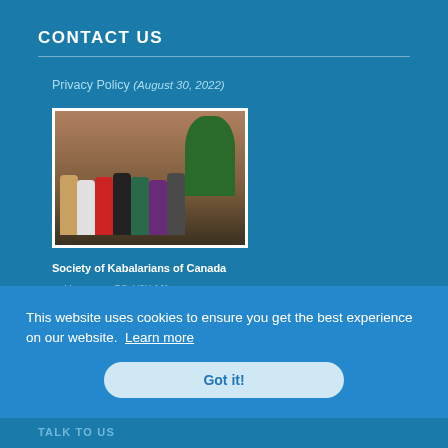CONTACT US
Privacy Policy (August 30, 2022)
[Figure (photo): Group photo of approximately 9-10 people standing together indoors, with a Christmas tree visible in the background]
Society of Kabalarians of Canada
Vancouver, BC, V6H 1J1
Canada
This website uses cookies to ensure you get the best experience on our website. Learn more
Got it!
TALK TO US